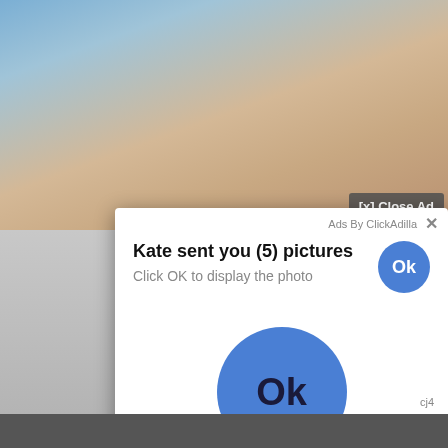[Figure (screenshot): Background showing a web browser with adult content video and a chat notification popup overlay. The popup reads 'Kate sent you (5) pictures / Click OK to display the photo' with an Ok button. A '[x] Close Ad' button appears in the top right of the video. Below is a large blue Ok button. The taskbar shows time 10:15 and a calendar icon with number 5.]
[x] Close Ad
Ads By ClickAdilla ×
Kate sent you (5) pictures
Click OK to display the photo
Ok
10:15
5
Ok
cj4